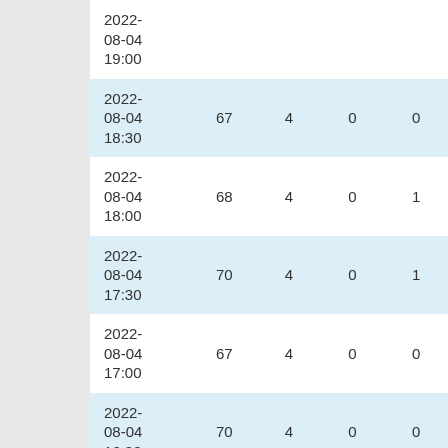| DateTime | Col1 | Col2 | Col3 | Col4 |
| --- | --- | --- | --- | --- |
| 2022-08-04 19:00 |  |  |  |  |
| 2022-08-04 18:30 | 67 | 4 | 0 | 0 |
| 2022-08-04 18:00 | 68 | 4 | 0 | 1 |
| 2022-08-04 17:30 | 70 | 4 | 0 | 1 |
| 2022-08-04 17:00 | 67 | 4 | 0 | 0 |
| 2022-08-04 16:30 | 70 | 4 | 0 | 0 |
| 2022-08-04 16:00 | 66 | 4 | 0 | 0 |